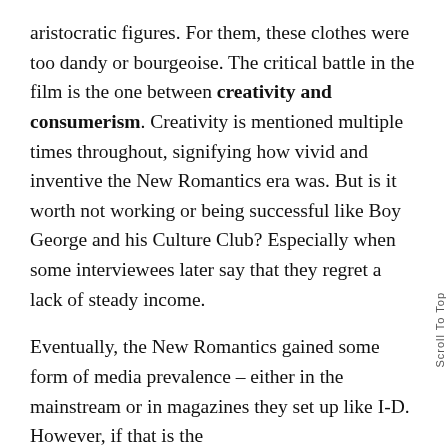aristocratic figures. For them, these clothes were too dandy or bourgeoise. The critical battle in the film is the one between creativity and consumerism. Creativity is mentioned multiple times throughout, signifying how vivid and inventive the New Romantics era was. But is it worth not working or being successful like Boy George and his Culture Club? Especially when some interviewees later say that they regret a lack of steady income.
Eventually, the New Romantics gained some form of media prevalence – either in the mainstream or in magazines they set up like I-D. However, if that is the height of the movement, TRAMPS! makes clear the slow decline of the 1980s. There was the rise of the New Romantic pop star – a sign of a new 'get-rich-